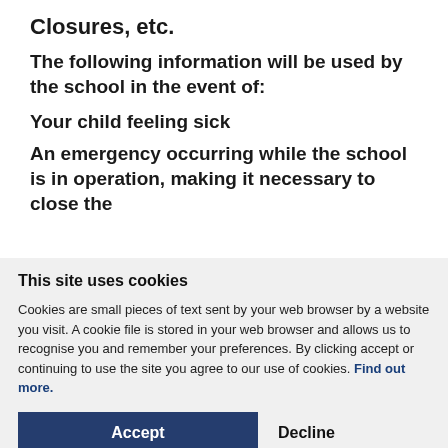Closures, etc.
The following information will be used by the school in the event of:
Your child feeling sick
An emergency occurring while the school is in operation, making it necessary to close the
school. In such an emergency, it is advisable to ensure the safe return home of pupils.
This site uses cookies
Cookies are small pieces of text sent by your web browser by a website you visit. A cookie file is stored in your web browser and allows us to recognise you and remember your preferences. By clicking accept or continuing to use the site you agree to our use of cookies. Find out more.
home/the school is unable to contact me, please
address of two other people you nominate for us to contact. We will ask this person to come
Accept
Decline
Manage settings